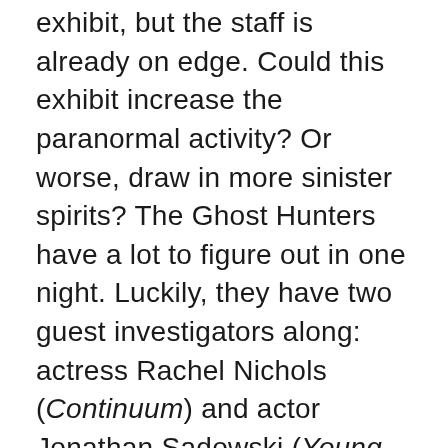exhibit, but the staff is already on edge. Could this exhibit increase the paranormal activity? Or worse, draw in more sinister spirits? The Ghost Hunters have a lot to figure out in one night. Luckily, they have two guest investigators along: actress Rachel Nichols (Continuum) and actor Jonathan Sadowski (Young and Hungry).
The investigation is intense. Dustin and K.J. have a cold presence pass through them in the attic and open a door behind them. When they go back to investigate the area a second time, something pushed Dustin's head back as if to prevent him from moving further. In the dining room, all of the